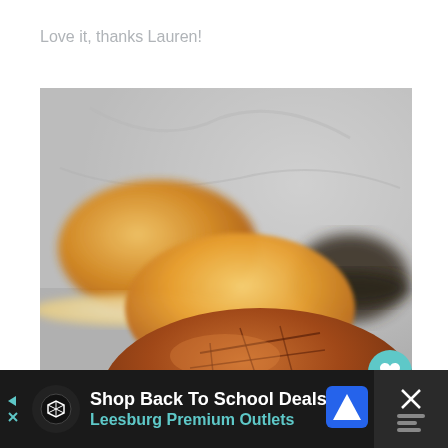Love it, thanks Lauren!
[Figure (photo): Close-up photo of artisan bread rolls/sliders on a surface. In focus foreground shows a dark, scored crusty bun. Background shows lighter, golden slider buns slightly out of focus, with a blurred marble surface.]
2
[Figure (other): Advertisement banner: Shop Back To School Deals - Leesburg Premium Outlets, with navigation arrow icon. Dark background with an X close button on right.]